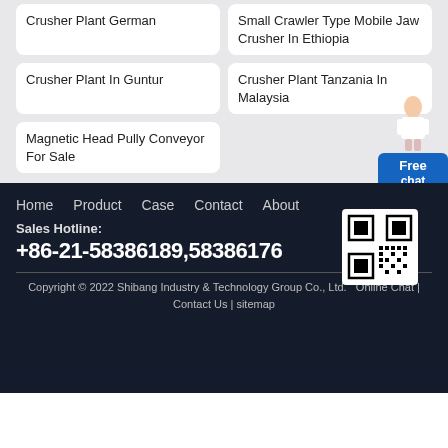Crusher Plant German
Small Crawler Type Mobile Jaw Crusher In Ethiopia
Crusher Plant In Guntur
Crusher Plant Tanzania In Malaysia
Magnetic Head Pully Conveyor For Sale
Free chat
Home   Product   Case   Contact   About
[Figure (other): QR code for scanning]
Sales Hotline:
+86-21-58386189,58386176
Copyright © 2022 Shibang Industry & Technology Group Co., Ltd.   Online Chat | Contact Us | sitemap